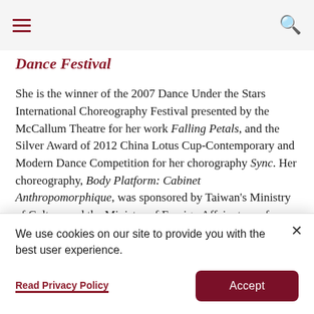Dance Festival
She is the winner of the 2007 Dance Under the Stars International Choreography Festival presented by the McCallum Theatre for her work Falling Petals, and the Silver Award of 2012 China Lotus Cup-Contemporary and Modern Dance Competition for her chorography Sync. Her choreography, Body Platform: Cabinet Anthropomorphique, was sponsored by Taiwan's Ministry of Culture and the Ministry of Foreign Affairs to perform in the 2015
We use cookies on our site to provide you with the best user experience.
Read Privacy Policy
Accept